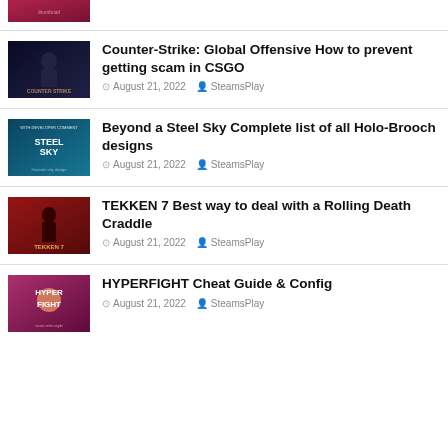[Figure (photo): Partial thumbnail of a game article at top of page, dark pink/crimson colored game image]
[Figure (photo): Counter-Strike Global Offensive game thumbnail, dark blue/black with soldier silhouette and Counter-Strike logo]
Counter-Strike: Global Offensive How to prevent getting scam in CSGO
August 21, 2022  SteamsPlay
[Figure (photo): Beyond a Steel Sky game thumbnail, teal/blue futuristic city scene with developer comment text]
Beyond a Steel Sky Complete list of all Holo-Brooch designs
August 21, 2022  SteamsPlay
[Figure (photo): TEKKEN 7 game thumbnail, red background with character and TEKKEN 7 logo]
TEKKEN 7 Best way to deal with a Rolling Death Craddle
August 21, 2022  SteamsPlay
[Figure (photo): HYPERFIGHT game thumbnail, pink/purple neon retro style with HYPER FIGHT text]
HYPERFIGHT Cheat Guide & Config
August 21, 2022  SteamsPlay